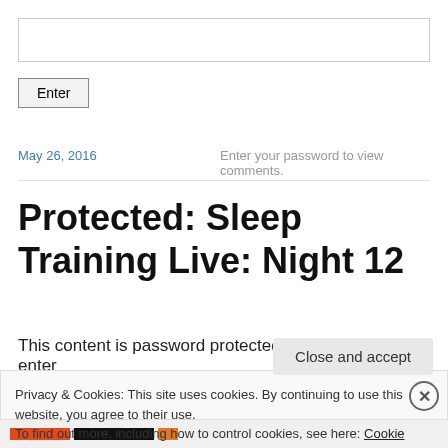[password input field]
Enter
May 26, 2016
Enter your password to view comments.
Protected: Sleep Training Live: Night 12
This content is password protected. To view it please enter
Privacy & Cookies: This site uses cookies. By continuing to use this website, you agree to their use.
To find out more, including how to control cookies, see here: Cookie Policy
Close and accept